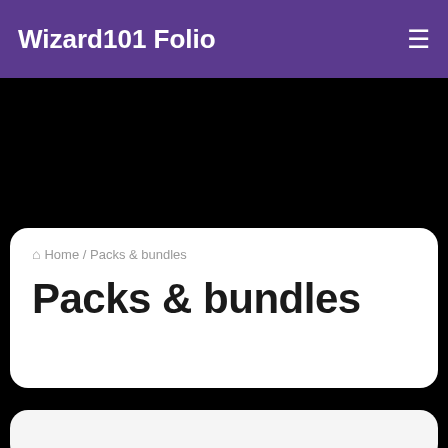Wizard101 Folio
Home / Packs & bundles
Packs & bundles